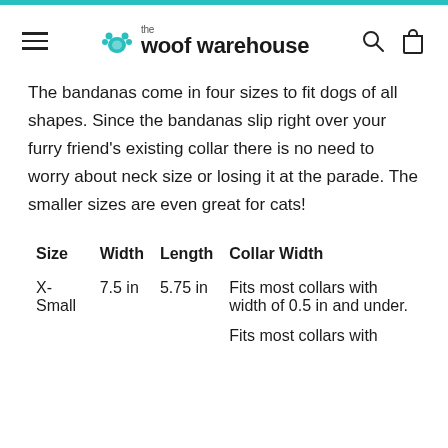the woof warehouse
The bandanas come in four sizes to fit dogs of all shapes. Since the bandanas slip right over your furry friend's existing collar there is no need to worry about neck size or losing it at the parade. The smaller sizes are even great for cats!
| Size | Width | Length | Collar Width |
| --- | --- | --- | --- |
| X-Small | 7.5 in | 5.75 in | Fits most collars with width of 0.5 in and under. |
|  |  |  | Fits most collars with |